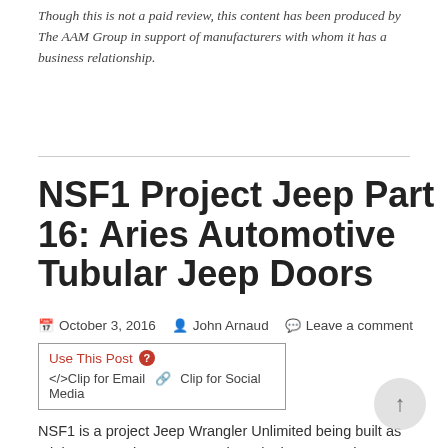Though this is not a paid review, this content has been produced by The AAM Group in support of manufacturers with whom it has a business relationship.
NSF1 Project Jeep Part 16: Aries Automotive Tubular Jeep Doors
October 3, 2016   John Arnaud   Leave a comment
Use This Post  </> Clip for Email   Clip for Social Media
NSF1 is a project Jeep Wrangler Unlimited being built as a joint venture between two giants in the automotive aftermarket—Total Truck Centers and Performance Corner—to benefit the